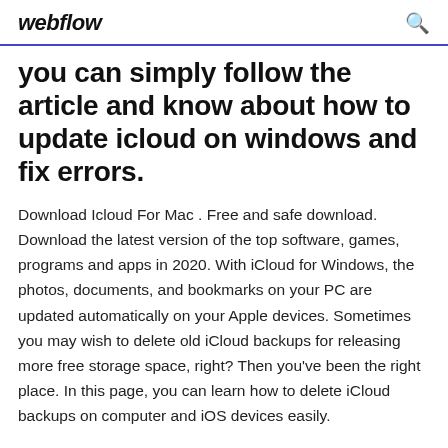webflow
you can simply follow the article and know about how to update icloud on windows and fix errors.
Download Icloud For Mac . Free and safe download. Download the latest version of the top software, games, programs and apps in 2020. With iCloud for Windows, the photos, documents, and bookmarks on your PC are updated automatically on your Apple devices. Sometimes you may wish to delete old iCloud backups for releasing more free storage space, right? Then you've been the right place. In this page, you can learn how to delete iCloud backups on computer and iOS devices easily.